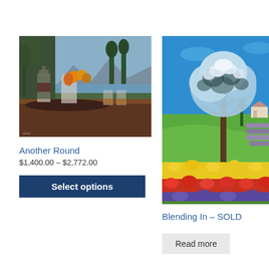[Figure (photo): Painting of a still life scene with crystal decanters, whisky glasses, fruits on a dark wooden table, with mountains and water in the background through a window.]
Another Round
$1,400.00 – $2,772.00
Select options
[Figure (photo): Painting of a vibrant garden landscape with a blooming white tree, rows of colorful flowers (red, yellow, purple), lavender fields, cypress trees, and a bright blue sky.]
Blending In – SOLD
Read more